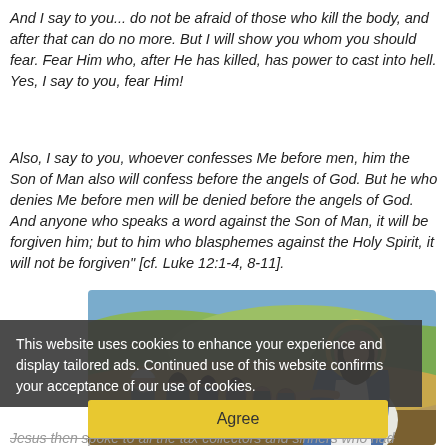And I say to you... do not be afraid of those who kill the body, and after that can do no more. But I will show you whom you should fear. Fear Him who, after He has killed, has power to cast into hell. Yes, I say to you, fear Him!
Also, I say to you, whoever confesses Me before men, him the Son of Man also will confess before the angels of God. But he who denies Me before men will be denied before the angels of God. And anyone who speaks a word against the Son of Man, it will be forgiven him; but to him who blasphemes against the Holy Spirit, it will not be forgiven" [cf. Luke 12:1-4, 8-11].
[Figure (illustration): Coptic-style painted illustration of Jesus with a golden halo, wearing white and blue robes, reaching out to a group of people. Rolling hills in muted greens, yellows, and blues in the background.]
This website uses cookies to enhance your experience and display tailored ads. Continued use of this website confirms your acceptance of our use of cookies.
Agree
Jesus then spoke to all the tax collectors and sinners who had